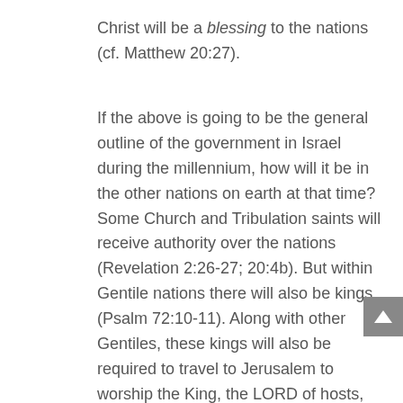Christ will be a blessing to the nations (cf. Matthew 20:27).
If the above is going to be the general outline of the government in Israel during the millennium, how will it be in the other nations on earth at that time? Some Church and Tribulation saints will receive authority over the nations (Revelation 2:26-27; 20:4b). But within Gentile nations there will also be kings (Psalm 72:10-11). Along with other Gentiles, these kings will also be required to travel to Jerusalem to worship the King, the LORD of hosts, for the Feast of Tabernacles (Zechariah 14:16-19).